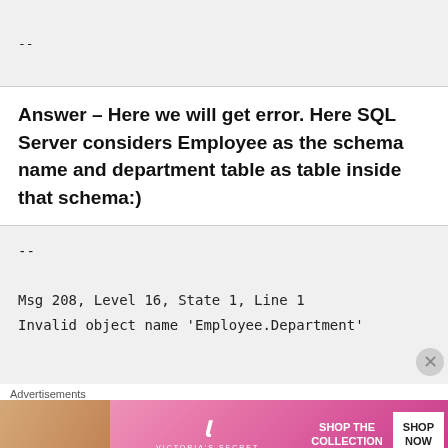--
Answer – Here we will get error. Here SQL Server considers Employee as the schema name and department table as table inside that schema:)
--

Msg 208, Level 16, State 1, Line 1
Invalid object name 'Employee.Department'
Advertisements